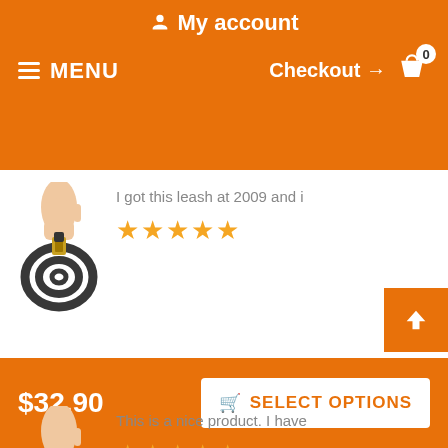My account
≡ MENU   Checkout → 🛒 0
[Figure (photo): Hand holding a dark leather dog leash coiled up, with gold clasp]
I got this leash at 2009 and i
★★★★★
[Figure (photo): Hand holding a dark leather dog leash coiled up, with gold clasp]
This is a nice product. I have
★★★★★
$32.90   🛒 SELECT OPTIONS